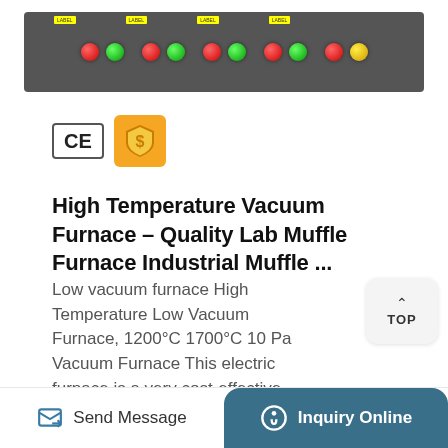[Figure (photo): Industrial furnace control panel with red and green indicator lights on a gray background]
[Figure (logo): CE certification badge and gold supplier badge icons]
High Temperature Vacuum Furnace - Quality Lab Muffle Furnace Industrial Muffle ...
Low vacuum furnace High Temperature Low Vacuum Furnace, 1200°C 1700°C 10 Pa Vacuum Furnace This electric furnace is a very cost-effective vacuum furnace. Low price, simple operation, excellent vacuum effect, good ...
[Figure (other): TOP scroll-to-top button with upward arrow]
More Details
Send Message | Inquiry Online